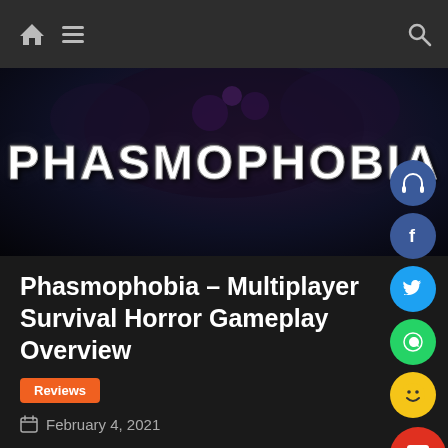Navigation bar with home, menu, and search icons
[Figure (photo): Phasmophobia game logo in horror-style white dripping text on dark purple/black background with dark creature silhouette]
Phasmophobia – Multiplayer Survival Horror Gameplay Overview
Reviews
February 4, 2021
A month before Halloween of 2020, an indie video game developer